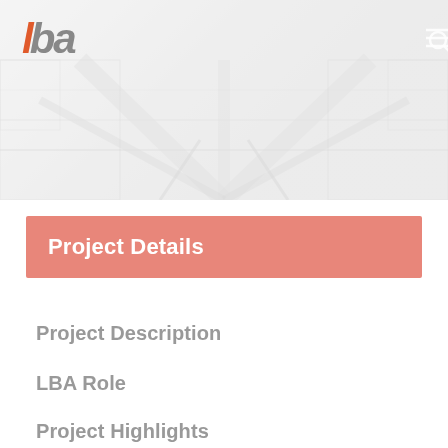[Figure (photo): Faded aerial/interior infrastructure photo showing tunnel or railway perspective, with LBA logo top-left and navigation icons top-right]
Project Details
Project Description
LBA Role
Project Highlights